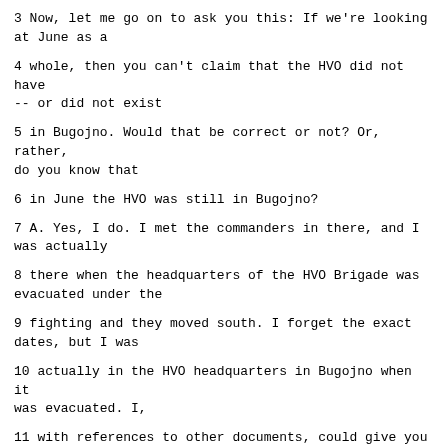3 Now, let me go on to ask you this: If we're looking at June as a
4 whole, then you can't claim that the HVO did not have -- or did not exist
5 in Bugojno. Would that be correct or not? Or, rather, do you know that
6 in June the HVO was still in Bugojno?
7 A. Yes, I do. I met the commanders in there, and I was actually
8 there when the headquarters of the HVO Brigade was evacuated under the
9 fighting and they moved south. I forget the exact dates, but I was
10 actually in the HVO headquarters in Bugojno when it was evacuated. I,
11 with references to other documents, could give you an exact date of that,
12 but ...
13 Q. Witness, you're talking about Bugojno, but I think you've got it